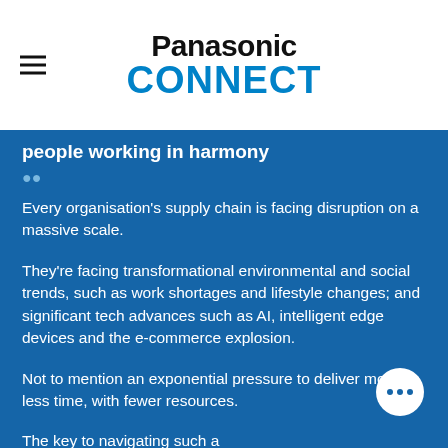Panasonic CONNECT
people working in harmony
Every organisation's supply chain is facing disruption on a massive scale.
They're facing transformational environmental and social trends, such as work shortages and lifestyle changes; and significant tech advances such as AI, intelligent edge devices and the e-commerce explosion.
Not to mention an exponential pressure to deliver more, in less time, with fewer resources.
The key to navigating such a